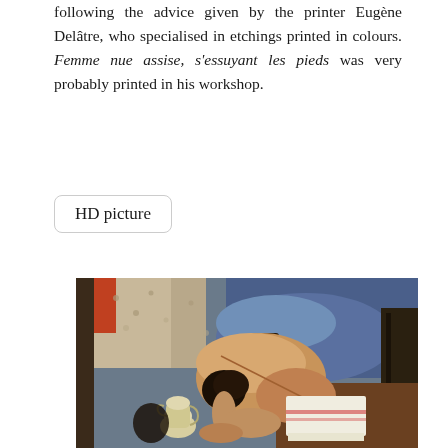following the advice given by the printer Eugène Delâtre, who specialised in etchings printed in colours. Femme nue assise, s'essuyant les pieds was very probably printed in his workshop.
HD picture
[Figure (photo): Painting of a nude woman seated and bent forward, drying her feet. A ceramic jug is visible at the lower left. The background shows a floral wallpaper and a blue bed or couch. The scene is rendered in warm golden and blue tones.]